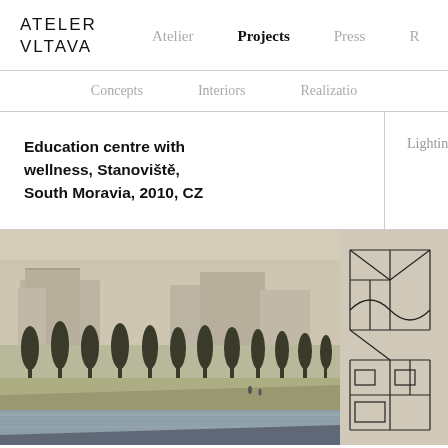ATELER VLTAVA | Atelier | Projects | Press | R
Concepts | Interiors | Realizatio
Education centre with wellness, Stanoviště, South Moravia, 2010, CZ
Lighting design
[Figure (photo): Architectural rendering of education centre with wellness facility showing a riverside park with rows of trees, modern buildings in the background, and a reflective water canal in the foreground. Sepia/muted tone.]
[Figure (illustration): Partial view of architectural drawing or sketch with black lines on light background, cropped on the right side.]